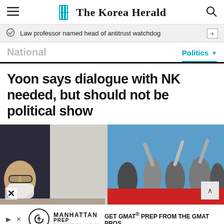The Korea Herald
Law professor named head of antitrust watchdog
National
Politics
Yoon says dialogue with NK needed, but should not be political show
[Figure (photo): Photo showing a man with glasses wearing a white mask in the foreground (left), and a group of people raising their hands in front of a blue banner in the background (right).]
[Figure (other): Advertisement for Manhattan Prep: GET GMAT PREP FROM THE GMAT PROS]